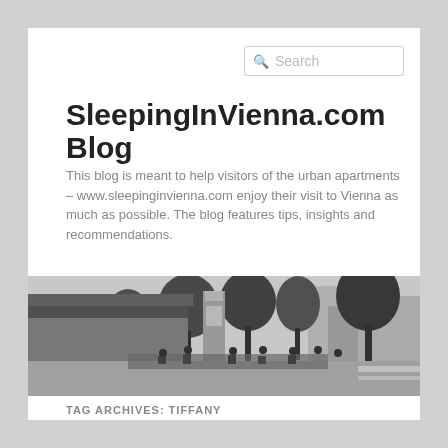SleepingInVienna.com Blog
This blog is meant to help visitors of the urban apartments – www.sleepinginvienna.com enjoy their visit to Vienna as much as possible. The blog features tips, insights and recommendations.
[Figure (photo): Black and white street photo of a Vienna outdoor café/market area with trees, people sitting at tables, and buildings in the background]
TAG ARCHIVES: TIFFANY